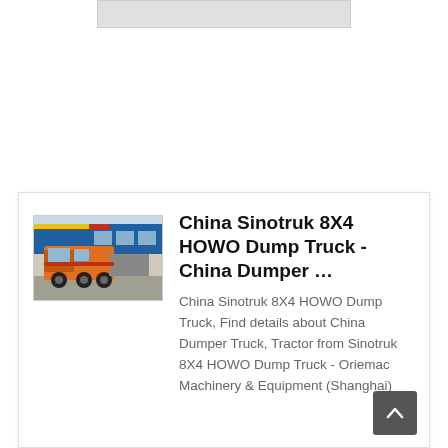[Figure (screenshot): Top portion of a webpage showing a partially visible search result card at the very top, clipped off]
[Figure (photo): Photo of an orange Sinotruk HOWO dump truck/tractor parked in front of a building with blue signage]
China Sinotruk 8X4 HOWO Dump Truck - China Dumper …
China Sinotruk 8X4 HOWO Dump Truck, Find details about China Dumper Truck, Tractor from Sinotruk 8X4 HOWO Dump Truck - Oriemac Machinery & Equipment (Shanghai)